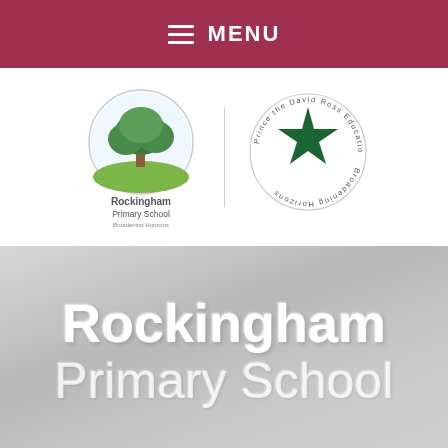MENU
[Figure (logo): Rockingham Primary School logo with tree illustration and 'Broadening Horizons' text, alongside a circular logo for the David Ross Education Trust with a green star]
Rockingham Primary School